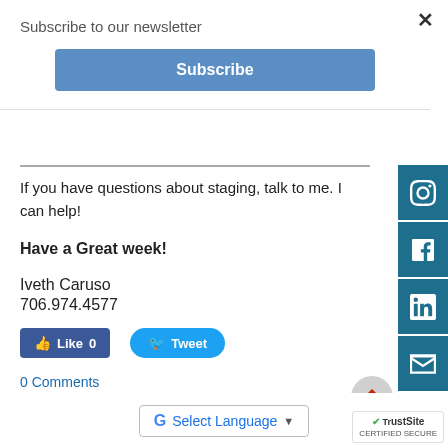Subscribe to our newsletter
[Figure (screenshot): Blue Subscribe button]
If you have questions about staging, talk to me. I can help!
Have a Great week!
Iveth Caruso
706.974.4577
[Figure (screenshot): Facebook Like button showing 0 likes and Twitter Tweet button]
0 Comments
[Figure (screenshot): Right sidebar with Instagram, Facebook, LinkedIn, and Email social media icons]
[Figure (screenshot): Google Select Language widget at bottom and TrustSite certified secure badge]